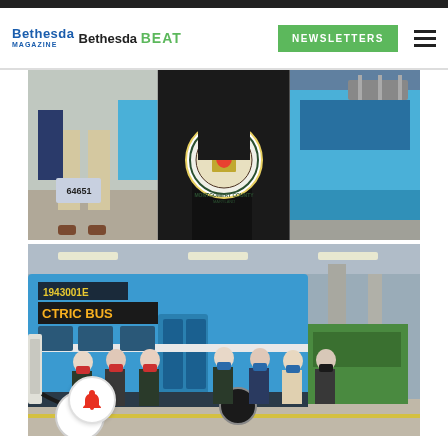Bethesda Magazine / Bethesda BEAT — NEWSLETTERS
[Figure (photo): Top composite photo: left panel shows person holding license plate near a bus, center panel shows Montgomery County Maryland seal/podium, right panel shows electric bus exterior detail.]
[Figure (photo): Bottom photo: Group of masked officials standing in front of blue electric bus numbered 1943001E showing 'CTRIC BUS' on destination board, parked in a transit garage with charging equipment visible. A notification bell icon is in the lower left corner.]